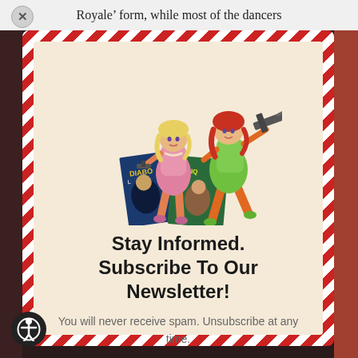Royale’ form, while most of the dancers
[Figure (illustration): Two illustrated women — one blonde in pink holding a small pistol, one redhead in green holding a submachine gun — standing above two comic book covers labeled 'Diabolik' and 'Bolique']
Stay Informed. Subscribe To Our Newsletter!
You will never receive spam. Unsubscribe at any time.